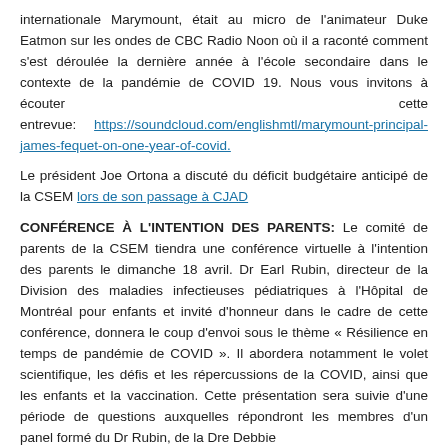internationale Marymount, était au micro de l'animateur Duke Eatmon sur les ondes de CBC Radio Noon où il a raconté comment s'est déroulée la dernière année à l'école secondaire dans le contexte de la pandémie de COVID 19. Nous vous invitons à écouter cette entrevue: https://soundcloud.com/englishmtl/marymount-principal-james-fequet-on-one-year-of-covid.
Le président Joe Ortona a discuté du déficit budgétaire anticipé de la CSEM lors de son passage à CJAD
CONFÉRENCE À L'INTENTION DES PARENTS: Le comité de parents de la CSEM tiendra une conférence virtuelle à l'intention des parents le dimanche 18 avril. Dr Earl Rubin, directeur de la Division des maladies infectieuses pédiatriques à l'Hôpital de Montréal pour enfants et invité d'honneur dans le cadre de cette conférence, donnera le coup d'envoi sous le thème « Résilience en temps de pandémie de COVID ». Il abordera notamment le volet scientifique, les défis et les répercussions de la COVID, ainsi que les enfants et la vaccination. Cette présentation sera suivie d'une période de questions auxquelles répondront les membres d'un panel formé du Dr Rubin, de la Dre Debbie